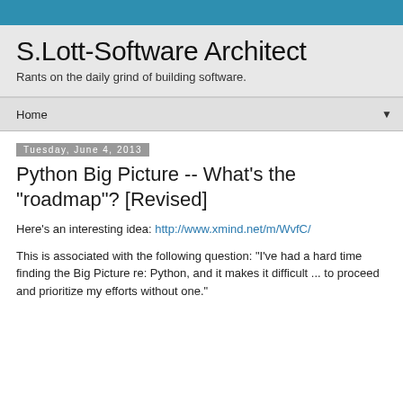S.Lott-Software Architect
Rants on the daily grind of building software.
Home
Tuesday, June 4, 2013
Python Big Picture -- What's the "roadmap"? [Revised]
Here's an interesting idea: http://www.xmind.net/m/WvfC/
This is associated with the following question: "I've had a hard time finding the Big Picture re: Python, and it makes it difficult ... to proceed and prioritize my efforts without one."